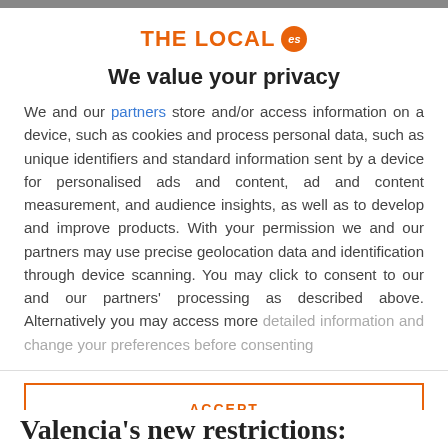[Figure (logo): THE LOCAL es logo with orange text and orange circle badge with 'es']
We value your privacy
We and our partners store and/or access information on a device, such as cookies and process personal data, such as unique identifiers and standard information sent by a device for personalised ads and content, ad and content measurement, and audience insights, as well as to develop and improve products. With your permission we and our partners may use precise geolocation data and identification through device scanning. You may click to consent to our and our partners' processing as described above. Alternatively you may access more detailed information and change your preferences before consenting
ACCEPT
MORE OPTIONS
Valencia's new restrictions: